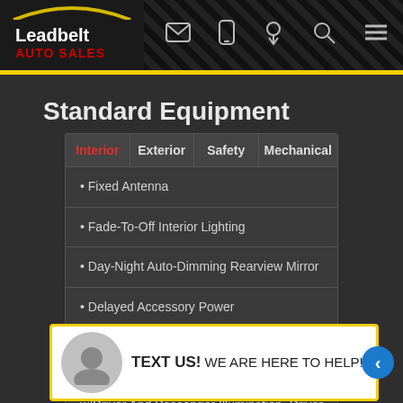[Figure (logo): Leadbelt Auto Sales logo with white and red text on dark background, with arc graphic]
Standard Equipment
| Interior | Exterior | Safety | Mechanical |
| --- | --- | --- | --- |
Fixed Antenna
Fade-To-Off Interior Lighting
Day-Night Auto-Dimming Rearview Mirror
Delayed Accessory Power
Driver Foot Rest
Driver And Passenger Visor Vanity Mirrors w/Driver And Passenger Illumination, Driver And Passenger Auxiliary Mirror
TEXT US! WE ARE HERE TO HELP!